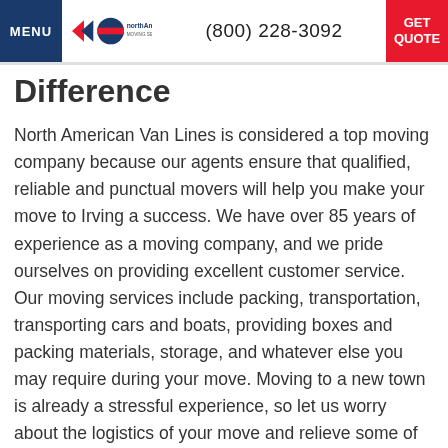MENU | northAmerican MOVING SERVICES | (800) 228-3092 | GET QUOTE
Difference
North American Van Lines is considered a top moving company because our agents ensure that qualified, reliable and punctual movers will help you make your move to Irving a success. We have over 85 years of experience as a moving company, and we pride ourselves on providing excellent customer service. Our moving services include packing, transportation, transporting cars and boats, providing boxes and packing materials, storage, and whatever else you may require during your move. Moving to a new town is already a stressful experience, so let us worry about the logistics of your move and relieve some of that stress.